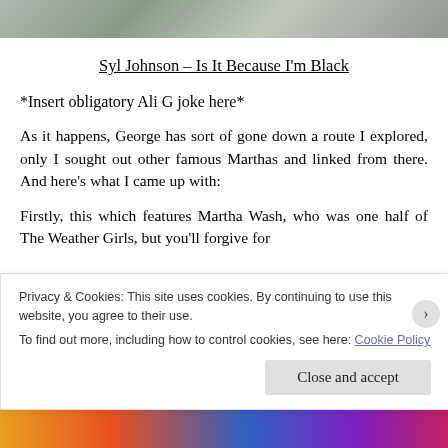[Figure (photo): Partial landscape/nature photo at top of page, mostly cropped]
Syl Johnson – Is It Because I'm Black
*Insert obligatory Ali G joke here*
As it happens, George has sort of gone down a route I explored, only I sought out other famous Marthas and linked from there. And here's what I came up with:
Firstly, this which features Martha Wash, who was one half of The Weather Girls, but you'll forgive for
Privacy & Cookies: This site uses cookies. By continuing to use this website, you agree to their use.
To find out more, including how to control cookies, see here: Cookie Policy
Close and accept